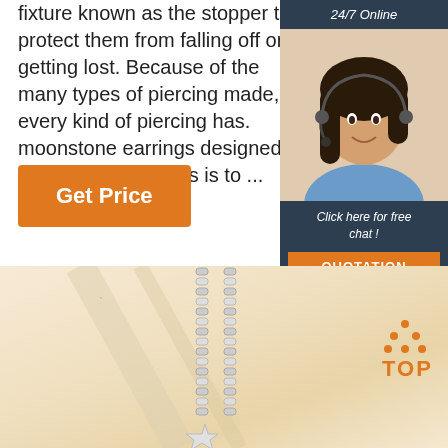fixture known as the stopper to protect them from falling off or getting lost. Because of the many types of piercing made, every kind of piercing has. moonstone earrings designed especially for it. This is to ...
Get Price
[Figure (photo): 24/7 Online chat widget with a woman customer service agent wearing a headset, smiling. Bottom of widget says 'Click here for free chat!' with an orange QUOTATION button.]
[Figure (photo): Product photo of silver chain necklaces hanging against a warm beige/cream background. A star pendant is visible at the bottom. A 'TOP' navigation icon with orange dots appears in the bottom right.]